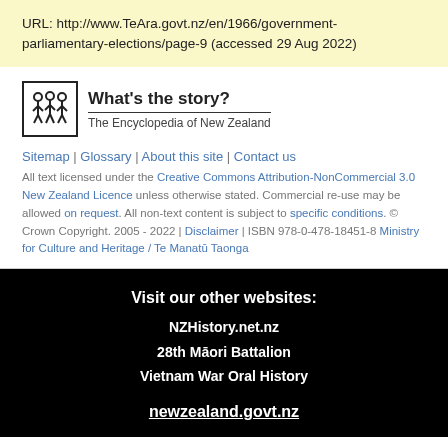URL: http://www.TeAra.govt.nz/en/1966/government-parliamentary-elections/page-9 (accessed 29 Aug 2022)
[Figure (logo): Te Ara logo with three figures and 'What's the story? The Encyclopedia of New Zealand' text]
Sitemap | Glossary | About this site | Contact us
All text licensed under the Creative Commons Attribution-NonCommercial 3.0 New Zealand Licence unless otherwise stated. Commercial re-use may be allowed on request. All non-text content is subject to specific conditions. © Crown Copyright. 2005 - 2022 | Disclaimer | ISBN 978-0-478-18451-8 Ministry for Culture and Heritage / Te Manatū Taonga
Visit our other websites: NZHistory.net.nz 28th Māori Battalion Vietnam War Oral History newzealand.govt.nz